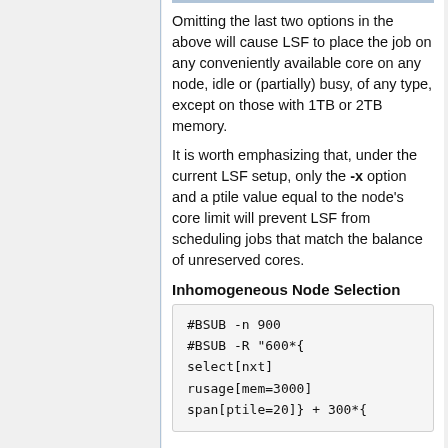Omitting the last two options in the above will cause LSF to place the job on any conveniently available core on any node, idle or (partially) busy, of any type, except on those with 1TB or 2TB memory.
It is worth emphasizing that, under the current LSF setup, only the -x option and a ptile value equal to the node's core limit will prevent LSF from scheduling jobs that match the balance of unreserved cores.
Inhomogeneous Node Selection
#BSUB -n 900
#BSUB -R "600*{
select[nxt]
rusage[mem=3000]
span[ptile=20]} + 300*{